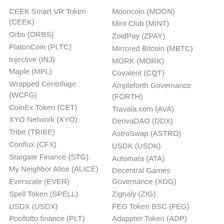CEEK Smart VR Token (CEEK)
Orbs (ORBS)
PlatonCoin (PLTC)
Injective (INJ)
Maple (MPL)
Wrapped Centrifuge (WCFG)
CoinEx Token (CET)
XYO Network (XYO)
Tribe (TRIBE)
Conflux (CFX)
Stargate Finance (STG)
My Neighbor Alice (ALICE)
Everscale (EVER)
Spell Token (SPELL)
USDX (USDX)
Poollotto.finance (PLT)
API3 (API3)
Mooncoin (MOON)
Mint Club (MINT)
ZoidPay (ZPAY)
Mirrored Bitcoin (MBTC)
MORK (MORK)
Covalent (CQT)
Ampleforth Governance (FORTH)
Travala.com (AVA)
DerivaDAO (DDX)
AstroSwap (ASTRO)
USDK (USDK)
Automata (ATA)
Decentral Games Governance (XDG)
Zignaly (ZIG)
FEG Token BSC (FEG)
Adappter Token (ADP)
Staked Luna (STLUNA)